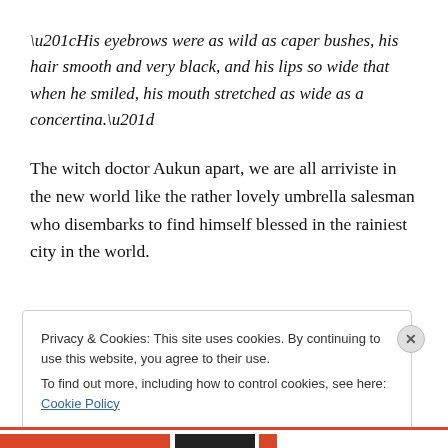“His eyebrows were as wild as caper bushes, his hair smooth and very black, and his lips so wide that when he smiled, his mouth stretched as wide as a concertina.”
The witch doctor Aukun apart, we are all arriviste in the new world like the rather lovely umbrella salesman who disembarks to find himself blessed in the rainiest city in the world.
Privacy & Cookies: This site uses cookies. By continuing to use this website, you agree to their use.
To find out more, including how to control cookies, see here: Cookie Policy